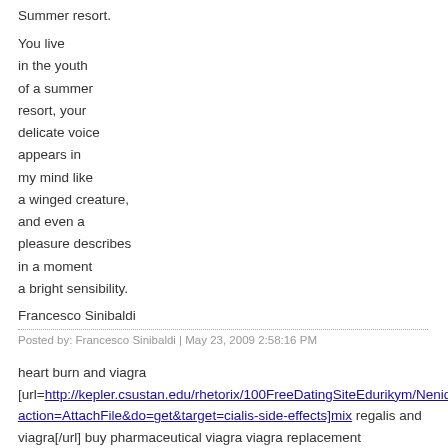Summer resort.
You live
in the youth
of a summer
resort, your
delicate voice
appears in
my mind like
a winged creature,
and even a
pleasure describes
in a moment
a bright sensibility.
Francesco Sinibaldi
Posted by: Francesco Sinibaldi | May 23, 2009 2:58:16 PM
heart burn and viagra
[url=http://kepler.csustan.edu/rhetorix/100FreeDatingSiteEdurikym/Neniq action=AttachFile&do=get&target=cialis-side-effects]mix regalis and viagra[/url] buy pharmaceutical viagra viagra replacement
[url=http://kepler.csustan.edu/rhetorix/100FreeDatingSiteEdurikym/Neniq